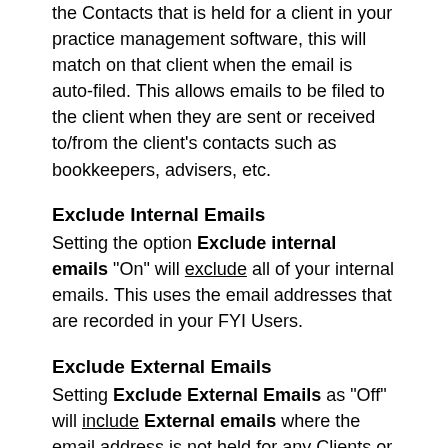the Contacts that is held for a client in your practice management software, this will match on that client when the email is auto-filed. This allows emails to be filed to the client when they are sent or received to/from the client's contacts such as bookkeepers, advisers, etc.
Exclude Internal Emails
Setting the option Exclude internal emails "On" will exclude all of your internal emails. This uses the email addresses that are recorded in your FYI Users.
Exclude External Emails
Setting Exclude External Emails as "Off" will include External emails where the email address is not held for any Clients or Client's Contacts. This ensures that any emails sent or received that relate to a client (such as for a client's lawyers, banker, bookkeeper, etc) can be filed against the client. It also allows emails for prospective clients to be filed.